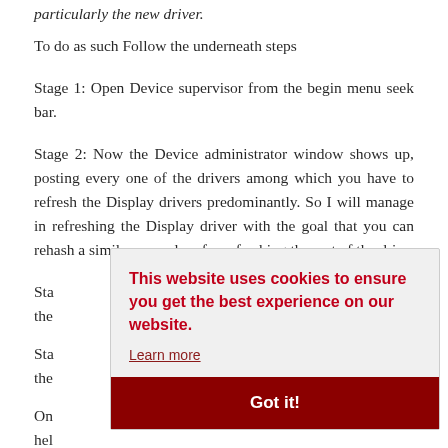particularly the new driver.
To do as such Follow the underneath steps
Stage 1: Open Device supervisor from the begin menu seek bar.
Stage 2: Now the Device administrator window shows up, posting every one of the drivers among which you have to refresh the Display drivers predominantly. So I will manage in refreshing the Display driver with the goal that you can rehash a similar procedure for refreshing the rest of the dri
Sta
the
Sta
the
On
hel
[Figure (screenshot): Cookie consent popup overlay with message 'This website uses cookies to ensure you get the best experience on our website.' with a 'Learn more' link and a dark red 'Got it!' button.]